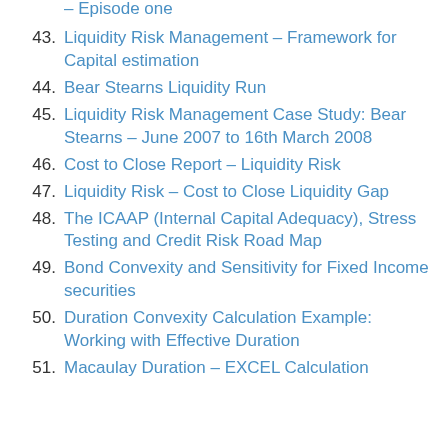– Episode one
43. Liquidity Risk Management – Framework for Capital estimation
44. Bear Stearns Liquidity Run
45. Liquidity Risk Management Case Study: Bear Stearns – June 2007 to 16th March 2008
46. Cost to Close Report – Liquidity Risk
47. Liquidity Risk – Cost to Close Liquidity Gap
48. The ICAAP (Internal Capital Adequacy), Stress Testing and Credit Risk Road Map
49. Bond Convexity and Sensitivity for Fixed Income securities
50. Duration Convexity Calculation Example: Working with Effective Duration
51. Macaulay Duration – EXCEL Calculation